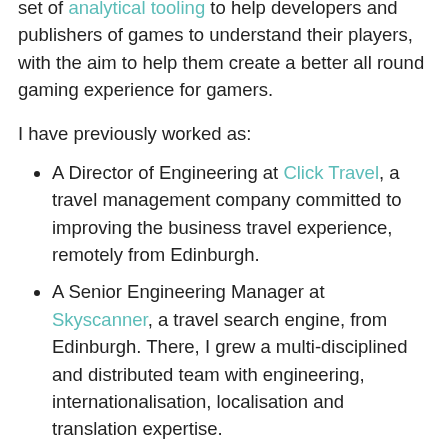set of analytical tooling to help developers and publishers of games to understand their players, with the aim to help them create a better all round gaming experience for gamers.
I have previously worked as:
A Director of Engineering at Click Travel, a travel management company committed to improving the business travel experience, remotely from Edinburgh.
A Senior Engineering Manager at Skyscanner, a travel search engine, from Edinburgh. There, I grew a multi-disciplined and distributed team with engineering, internationalisation, localisation and translation expertise.
A software engineer working my way up from intern to principal. I started doing an